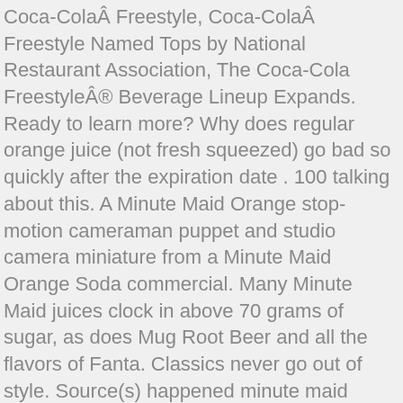Coca-ColaÂ Freestyle, Coca-ColaÂ Freestyle Named Tops by National Restaurant Association, The Coca-Cola FreestyleÂ® Beverage Lineup Expands. Ready to learn more? Why does regular orange juice (not fresh squeezed) go bad so quickly after the expiration date . 100 talking about this. A Minute Maid Orange stop-motion cameraman puppet and studio camera miniature from a Minute Maid Orange Soda commercial. Many Minute Maid juices clock in above 70 grams of sugar, as does Mug Root Beer and all the flavors of Fanta. Classics never go out of style. Source(s) happened minute maid orange soda: https://biturl.im/gWTuz. anymore. It was run during the last episode of 'Magnum PI' on WWL Channel 4 in New Orleans LA. why are you doing it? 'Bring back Minute Maid Orange Soda' Food & Beverage Company . Minute Maid light lemonade is sometimes hard to find in the store (especially in cans) so Iam happy that Amazon usually has it available. Can you put an unopened cold soda back into pantry? 'Summery,' described one taster when commenting on Minute Maid. I guess it isn't being prod. 0 0. 4 Orbitz, Hi-C Fruit Punch is